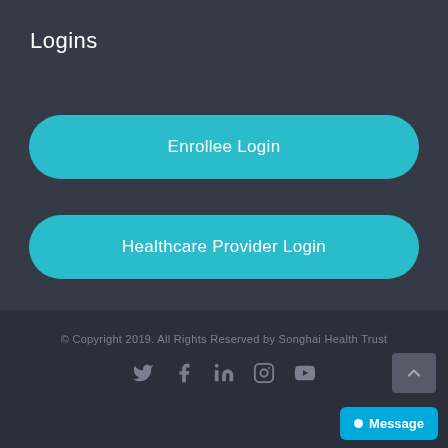Logins
Enrollee Login
Healthcare Provider Login
© Copyright 2019. All Rights Reserved by Songhai Health Trust
[Figure (other): Social media icons: Twitter, Facebook, LinkedIn, Instagram, YouTube]
Message